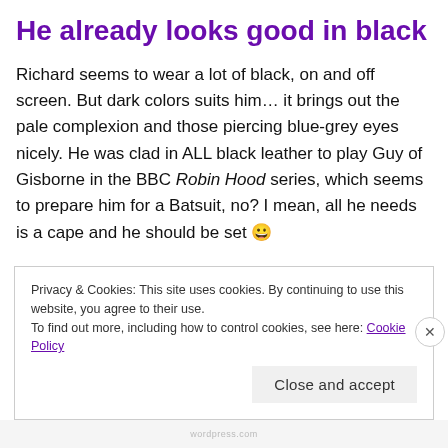He already looks good in black
Richard seems to wear a lot of black, on and off screen. But dark colors suits him… it brings out the pale complexion and those piercing blue-grey eyes nicely. He was clad in ALL black leather to play Guy of Gisborne in the BBC Robin Hood series, which seems to prepare him for a Batsuit, no? I mean, all he needs is a cape and he should be set 😀
Privacy & Cookies: This site uses cookies. By continuing to use this website, you agree to their use.
To find out more, including how to control cookies, see here: Cookie Policy
Close and accept